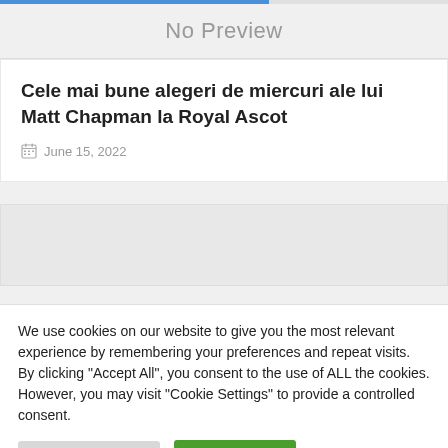[Figure (other): No Preview placeholder image area with grey background]
Cele mai bune alegeri de miercuri ale lui Matt Chapman la Royal Ascot
June 15, 2022
[Figure (other): Advertisement or empty content block]
We use cookies on our website to give you the most relevant experience by remembering your preferences and repeat visits. By clicking "Accept All", you consent to the use of ALL the cookies. However, you may visit "Cookie Settings" to provide a controlled consent.
Cookie Settings  Accept All